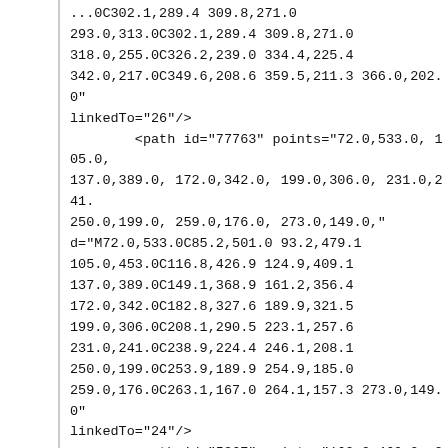...0C302.1,289.4 309.8,271.0
293.0,313.0C302.1,289.4 309.8,271.0
318.0,255.0C326.2,239.0 334.4,225.4
342.0,217.0C349.6,208.6 359.5,211.3 366.0,202.0"
linkedTo="26"/>
        <path id="77763" points="72.0,533.0, 105.0,
137.0,389.0, 172.0,342.0, 199.0,306.0, 231.0,241.
250.0,199.0, 259.0,176.0, 273.0,149.0,"
d="M72.0,533.0C85.2,501.0 93.2,479.1
105.0,453.0C116.8,426.9 124.9,409.1
137.0,389.0C149.1,368.9 161.2,356.4
172.0,342.0C182.8,327.6 189.9,321.5
199.0,306.0C208.1,290.5 223.1,257.6
231.0,241.0C238.9,224.4 246.1,208.1
250.0,199.0C253.9,189.9 254.9,185.0
259.0,176.0C263.1,167.0 264.1,157.3 273.0,149.0"
linkedTo="24"/>
        <path id="5367" points="160.0,460.0, 251.0,
288.0,219.0, 322.0,192.0,belay"
d="M160.0,460.0C196.4,393.2 235.5,322.2
251.0,293.0C266.5,263.8 278.0,233.2
288.0,219.0C298.0,204.8 308.4,202.8 322.0,192.0"
linkedTo="25" lineStyle="dotted"/>